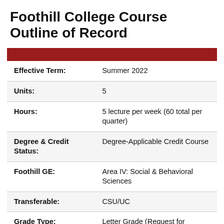Foothill College Course Outline of Record
|  |  |
| --- | --- |
| Effective Term: | Summer 2022 |
| Units: | 5 |
| Hours: | 5 lecture per week (60 total per quarter) |
| Degree & Credit Status: | Degree-Applicable Credit Course |
| Foothill GE: | Area IV: Social & Behavioral Sciences |
| Transferable: | CSU/UC |
| Grade Type: | Letter Grade (Request for |